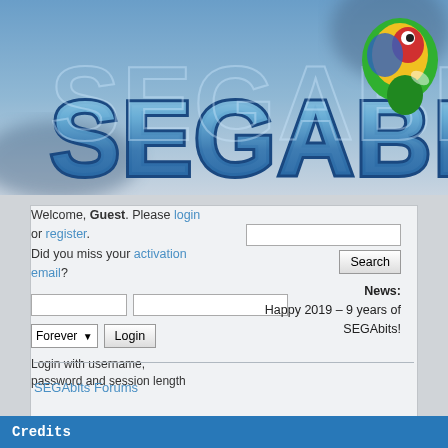[Figure (logo): SEGAbits logo with large blue 3D metallic letters on a blurred blue background, with a colorful parrot/ball logo on the right side]
Welcome, Guest. Please login or register. Did you miss your activation email?
Login with username, password and session length
News: Happy 2019 – 9 years of SEGAbits!
Home  Help & Rules  Login  Register
SEGAbits Forums
Credits